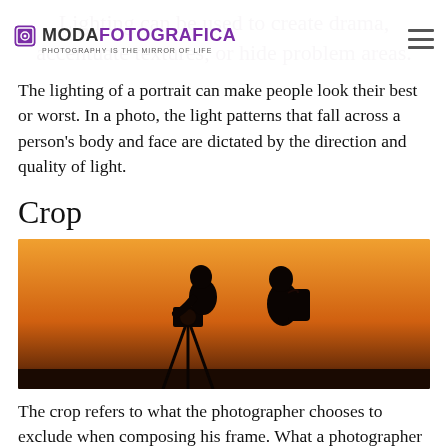MODAFOTOGRAFICA — PHOTOGRAPHY IS THE MIRROR OF LIFE
Lighting can be used to create drama, accentuate textures, or hide problem areas.
The lighting of a portrait can make people look their best or worst. In a photo, the light patterns that fall across a person's body and face are dictated by the direction and quality of light.
Crop
[Figure (photo): Silhouettes of two photographers against an orange sunset sky. One holds a camera on a tripod, the other has a backpack.]
The crop refers to what the photographer chooses to exclude when composing his frame. What a photographer chooses to exclude from